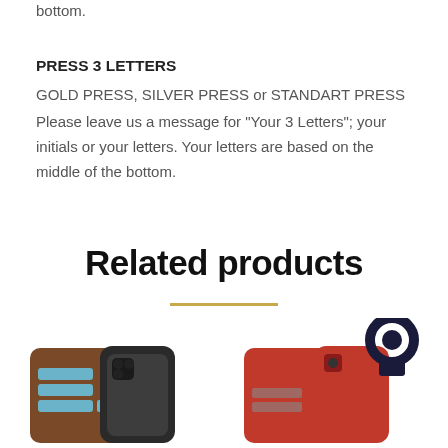bottom.
PRESS 3 LETTERS
GOLD PRESS, SILVER PRESS or STANDART PRESS
Please leave us a message for "Your 3 Letters"; your initials or your letters. Your letters are based on the middle of the bottom.
Related products
[Figure (photo): Two product images: a brown leather wallet phone case (left) and a red leather phone case with a ring holder (right)]